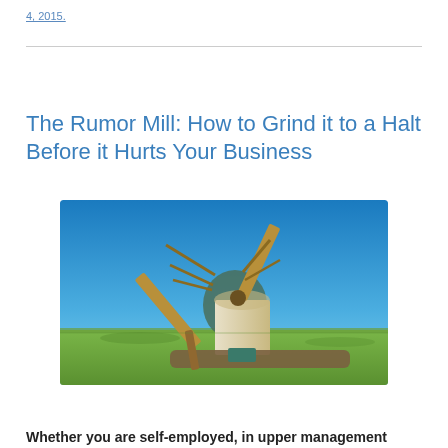4, 2015.
The Rumor Mill: How to Grind it to a Halt Before it Hurts Your Business
[Figure (photo): A wooden windmill with two large ladder-frame blades set in a flat green field under a clear blue sky. The windmill structure is partly collapsed or tilted, with wooden beams and a cylindrical body.]
Whether you are self-employed, in upper management